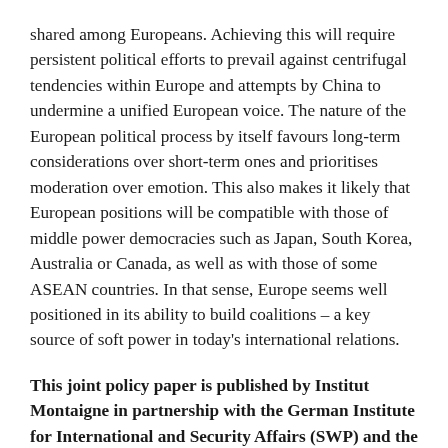shared among Europeans. Achieving this will require persistent political efforts to prevail against centrifugal tendencies within Europe and attempts by China to undermine a unified European voice. The nature of the European political process by itself favours long-term considerations over short-term ones and prioritises moderation over emotion. This also makes it likely that European positions will be compatible with those of middle power democracies such as Japan, South Korea, Australia or Canada, as well as with those of some ASEAN countries. In that sense, Europe seems well positioned in its ability to build coalitions – a key source of soft power in today's international relations.
This joint policy paper is published by Institut Montaigne in partnership with the German Institute for International and Security Affairs (SWP) and the Centre for European Reform (CER).